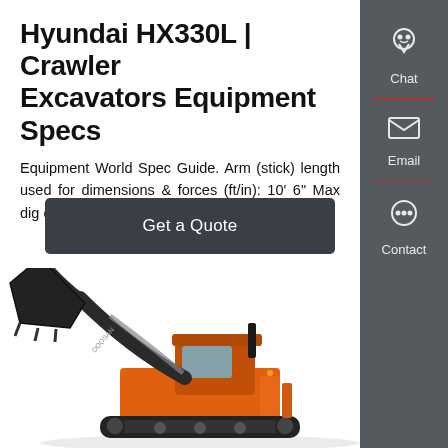Hyundai HX330L | Crawler Excavators Equipment Specs
Equipment World Spec Guide. Arm (stick) length used for dimensions & forces (ft/in): 10' 6" Max dig depth (ft/in)
Get a Quote
[Figure (photo): Doosan orange crawler excavator / wheel loader with raised bucket arm, photographed from the side]